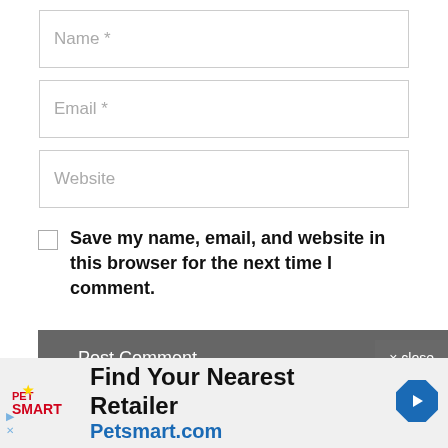Name *
Email *
Website
Save my name, email, and website in this browser for the next time I comment.
Post Comment
× close
[Figure (screenshot): PetSmart advertisement banner with logo, 'Find Your Nearest Retailer' headline, 'Petsmart.com' URL in blue, and a blue diamond-shaped arrow icon]
Find Your Nearest Retailer Petsmart.com